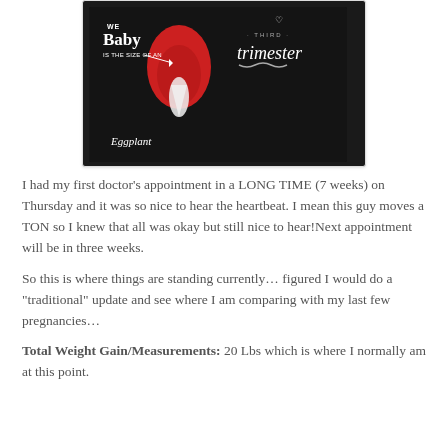[Figure (photo): Dark background image showing 'Baby is the size of an Eggplant' text with a red eggplant illustration, and 'THIRD trimester' text in white on the right side]
I had my first doctor’s appointment in a LONG TIME (7 weeks) on Thursday and it was so nice to hear the heartbeat. I mean this guy moves a TON so I knew that all was okay but still nice to hear!Next appointment will be in three weeks.
So this is where things are standing currently… figured I would do a “traditional” update and see where I am comparing with my last few pregnancies…
Total Weight Gain/Measurements: 20 Lbs which is where I normally am at this point.